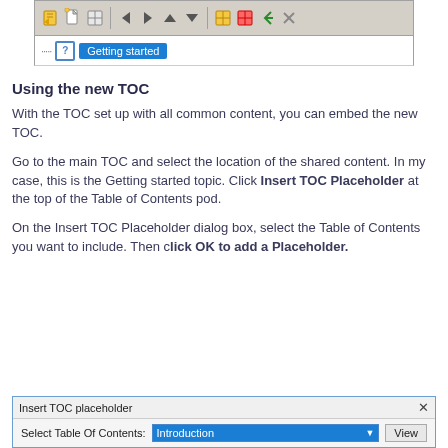[Figure (screenshot): Software toolbar with navigation icons and a 'Getting started' tab highlighted in blue]
Using the new TOC
With the TOC set up with all common content, you can embed the new TOC.
Go to the main TOC and select the location of the shared content. In my case, this is the Getting started topic. Click Insert TOC Placeholder at the top of the Table of Contents pod.
On the Insert TOC Placeholder dialog box, select the Table of Contents you want to include. Then click OK to add a Placeholder.
[Figure (screenshot): Insert TOC placeholder dialog box with 'Introduction' selected in dropdown and a View button]